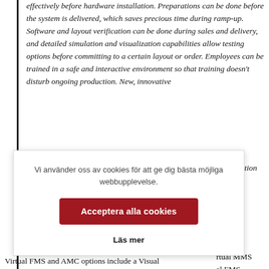effectively before hardware installation. Preparations can be done before the system is delivered, which saves precious time during ramp-up. Software and layout verification can be done during sales and delivery, and detailed simulation and visualization capabilities allow testing options before committing to a certain layout or order. Employees can be trained in a safe and interactive environment so that training doesn't disturb ongoing production. New, innovative [features allow...] the production [system can be based] on the [...]
Vi använder oss av cookies för att ge dig bästa möjliga webbupplevelse.
Acceptera alla cookies
Läs mer
[...] Virtual MMS [...] al FMS [...] AMC (Agile [...] ncludes [...] port. The Virtual FMS and AMC options include a Visual